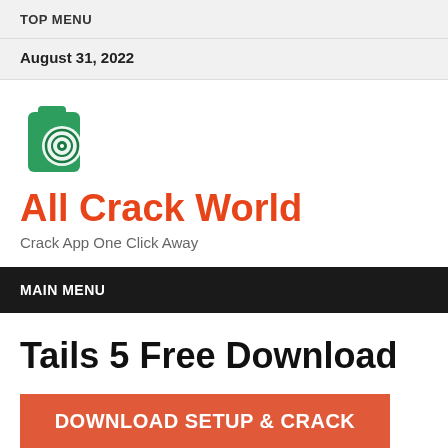TOP MENU
August 31, 2022
[Figure (logo): All Crack World logo: green folder/disc icon with circular target symbol]
All Crack World
Crack App One Click Away
MAIN MENU
Tails 5 Free Download
DOWNLOAD SETUP & CRACK